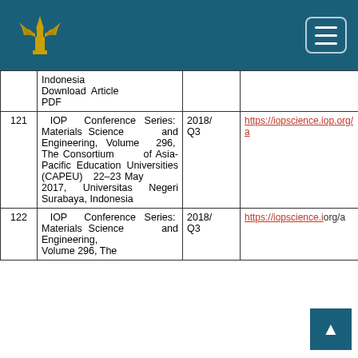Indonesian government education portal header with logo and navigation menu
| No | Journal | Year/Q | Link |
| --- | --- | --- | --- |
|  | Indonesia Download Article PDF |  |  |
| 121 | IOP Conference Series: Materials Science and Engineering, Volume 296, The Consortium of Asia-Pacific Education Universities (CAPEU) 22–23 May 2017, Universitas Negeri Surabaya, Indonesia | 2018/ Q3 | https://iopscience.iop.org/a... |
| 122 | IOP Conference Series: Materials Science and Engineering, Volume 296, The... | 2018/ Q3 | https://iopscience.iop.org/a... |